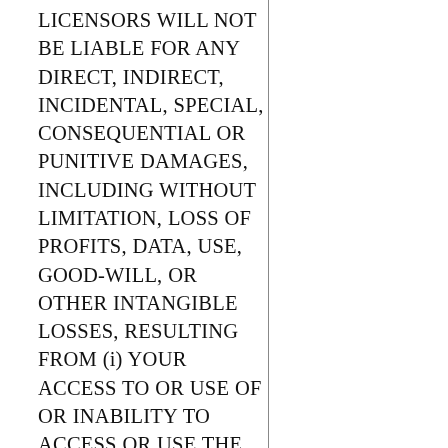LICENSORS WILL NOT BE LIABLE FOR ANY DIRECT, INDIRECT, INCIDENTAL, SPECIAL, CONSEQUENTIAL OR PUNITIVE DAMAGES, INCLUDING WITHOUT LIMITATION, LOSS OF PROFITS, DATA, USE, GOOD-WILL, OR OTHER INTANGIBLE LOSSES, RESULTING FROM (i) YOUR ACCESS TO OR USE OF OR INABILITY TO ACCESS OR USE THE SERVICE; (ii) ANY CONDUCT OR CONTENT OF ANY THIRD PARTY ON THE SERVICE,